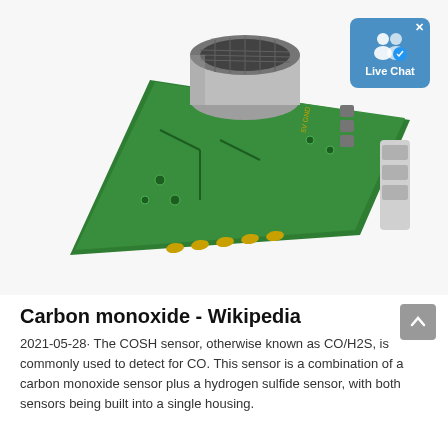[Figure (photo): A green PCB circuit board with a metal cylindrical CO/H2S gas sensor on top and a white connector plug on the right side, shown at an angle on a white background.]
[Figure (screenshot): Live Chat badge button — blue rounded rectangle with a two-person icon, a blue checkmark badge, an X close button, and the text 'Live Chat' in white below the icon.]
Carbon monoxide - Wikipedia
2021-05-28· The COSH sensor, otherwise known as CO/H2S, is commonly used to detect for CO. This sensor is a combination of a carbon monoxide sensor plus a hydrogen sulfide sensor, with both sensors being built into a single housing.